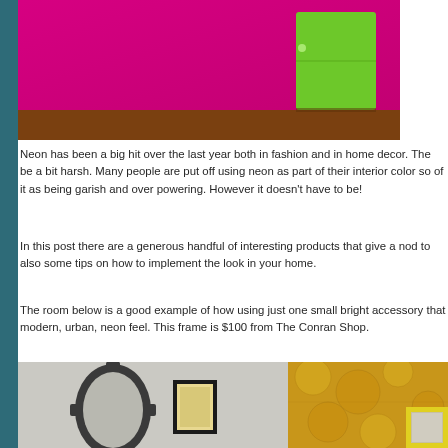[Figure (photo): Photo of a bright magenta/neon pink wall with a neon green cabinet and wooden floor]
Neon has been a big hit over the last year both in fashion and in home decor. The be a bit harsh. Many people are put off using neon as part of their interior color s of it as being garish and over powering. However it doesn't have to be!
In this post there are a generous handful of interesting products that give a nod to also some tips on how to implement the look in your home.
The room below is a good example of how using just one small bright accessory that modern, urban, neon feel. This frame is $100 from The Conran Shop.
[Figure (photo): Photo of a room interior with a grey ornate mirror on a light grey wall, a small framed picture, yellow floral wallpaper, and a yellow photo frame in the corner]